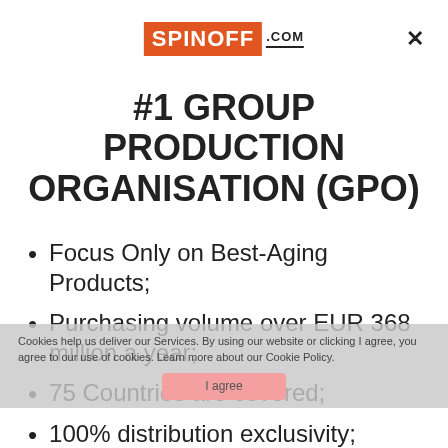[Figure (logo): SPINOFF.COM logo: orange rectangle with white bold text SPINOFF, followed by .COM in black bold text with underline]
#1 GROUP PRODUCTION ORGANISATION (GPO)
Focus Only on Best-Aging Products;
Purchasing volume over EUR 368 million a year;
75 Countries are covered;
100% distribution exclusivity;
Also co-own and own brands.
Cookies help us deliver our Services. By using our website or clicking I agree, you agree to our use of cookies. Learn more about our Cookie Policy.